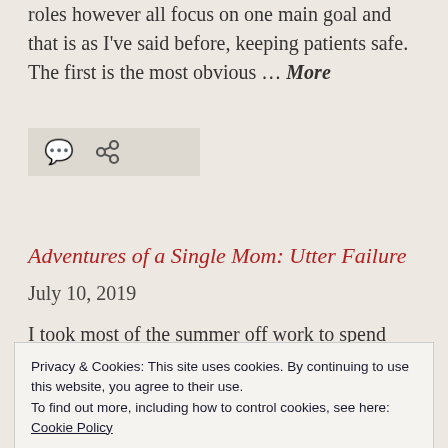roles however all focus on one main goal and that is as I've said before, keeping patients safe. The first is the most obvious … More
[Figure (other): Comment and link share icons on a light gray background]
Adventures of a Single Mom: Utter Failure
July 10, 2019
I took most of the summer off work to spend time
Privacy & Cookies: This site uses cookies. By continuing to use this website, you agree to their use.
To find out more, including how to control cookies, see here:
Cookie Policy
Close and accept